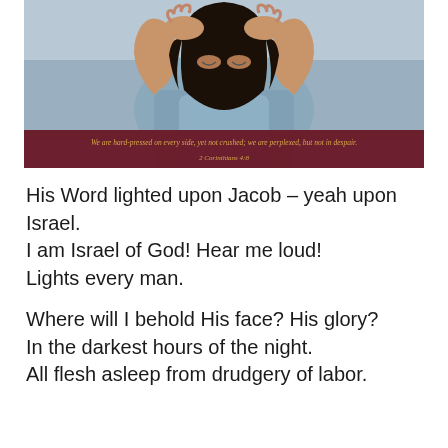[Figure (photo): A distressed woman with hands on her head, with a dark red scripture banner overlay at the bottom reading: 'We are hard-pressed on every side, yet not crushed; we are perplexed, but not in despair. 2 Corinthians 4:8']
His Word lighted upon Jacob – yeah upon Israel.
I am Israel of God! Hear me loud!
Lights every man.
Where will I behold His face? His glory?
In the darkest hours of the night.
All flesh asleep from drudgery of labor.